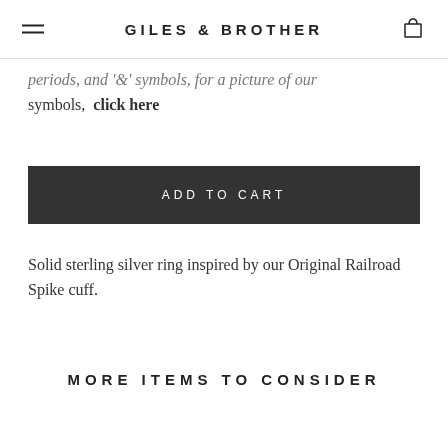GILES & BROTHER
periods, and '&' symbols, for a picture of our symbols, click here
ADD TO CART
Solid sterling silver ring inspired by our Original Railroad Spike cuff.
MORE ITEMS TO CONSIDER